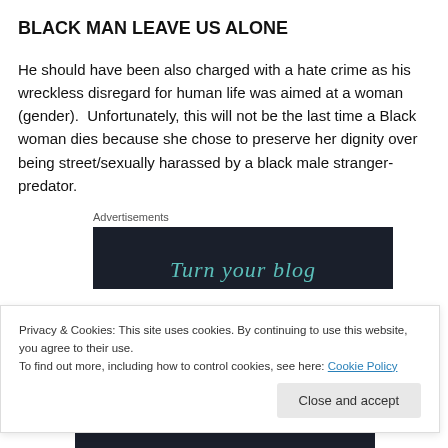BLACK MAN LEAVE US ALONE
He should have been also charged with a hate crime as his wreckless disregard for human life was aimed at a woman (gender).  Unfortunately, this will not be the last time a Black woman dies because she chose to preserve her dignity over being street/sexually harassed by a black male stranger-predator.
Advertisements
[Figure (other): Dark advertisement banner with teal italic text reading 'Turn your blog']
Privacy & Cookies: This site uses cookies. By continuing to use this website, you agree to their use.
To find out more, including how to control cookies, see here: Cookie Policy
Close and accept